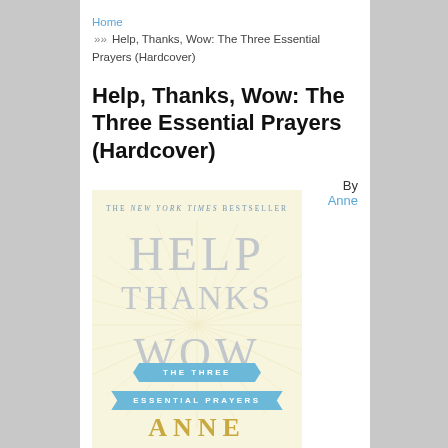Home >> Help, Thanks, Wow: The Three Essential Prayers (Hardcover)
Help, Thanks, Wow: The Three Essential Prayers (Hardcover)
By Anne
[Figure (photo): Book cover of 'Help, Thanks, Wow: The Three Essential Prayers' showing a cream/yellow background with radiating rays, the words HELP, THANKS, WOW in large gray serif letters, two blue ribbon banners reading 'THE THREE' and 'ESSENTIAL PRAYERS', and the author name ANNE in gold letters at the bottom. Top subtitle reads 'THE NEW YORK TIMES BESTSELLER'.]